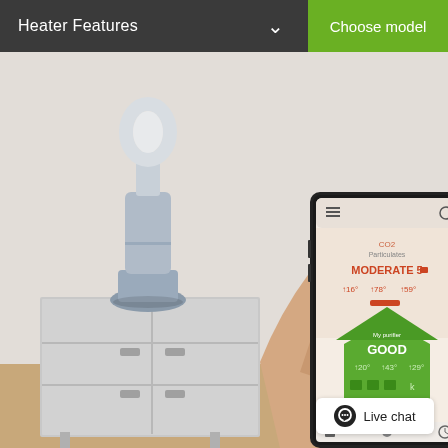Heater Features
Choose model
[Figure (photo): A Dyson air purifier/heater device sitting on a white cabinet in a room, with a hand holding a smartphone displaying the Dyson app showing air quality readings (MODERATE 5 outside, GOOD inside) with temperature and air quality metrics.]
Live chat